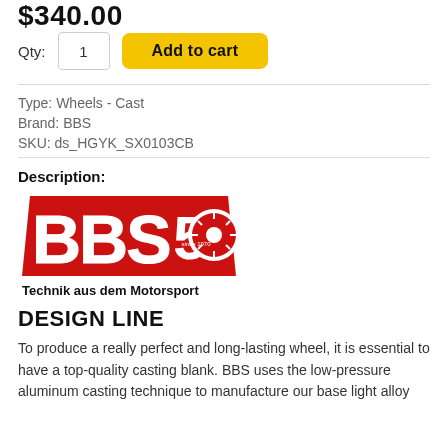$340.00
Qty: 1  Add to cart
Type: Wheels - Cast
Brand: BBS
SKU: ds_HGYK_SX0103CB
Description:
[Figure (logo): BBS 50th anniversary logo with text 'Technik aus dem Motorsport'. Red and white design with a wheel graphic and 'since 1970' text.]
DESIGN LINE
To produce a really perfect and long-lasting wheel, it is essential to have a top-quality casting blank. BBS uses the low-pressure aluminum casting technique to manufacture our base light alloy